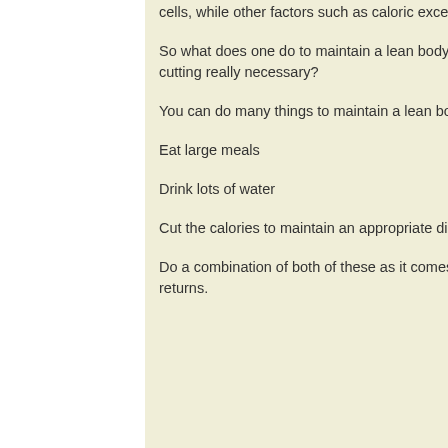cells, while other factors such as caloric excess.
So what does one do to maintain a lean body during a bulking phase, is bulking and cutting really necessary?
You can do many things to maintain a lean body during a bulking phase, such as:
Eat large meals
Drink lots of water
Cut the calories to maintain an appropriate diet, crazybulk clenbutrol.
Do a combination of both of these as it comes to a lot of bulking cycle issues, crazybulk returns.
[Figure (photo): A coastal sunset/seascape photo showing sky with clouds and ocean shore on the right side of the page.]